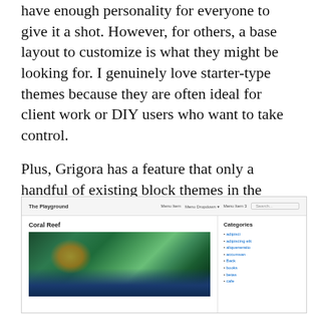have enough personality for everyone to give it a shot. However, for others, a base layout to customize is what they might be looking for. I genuinely love starter-type themes because they are often ideal for client work or DIY users who want to take control.
Plus, Grigora has a feature that only a handful of existing block themes in the WordPress directory can boast. It includes a sidebar in its default output:
[Figure (screenshot): Screenshot of the Grigora WordPress theme showing a site called 'The Playground' with navigation menu items, a sidebar with Categories list, and a main content area showing a 'Coral Reef' post with an underwater coral reef photograph.]